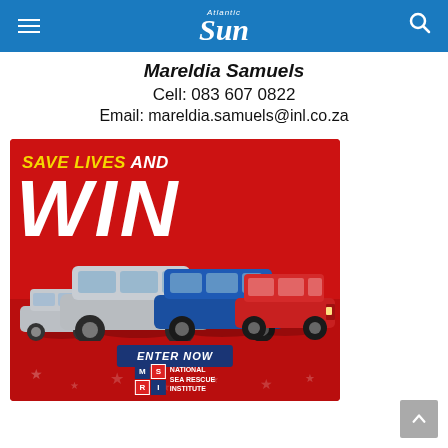Atlantic Sun
Mareldia Samuels
Cell: 083 607 0822
Email: mareldia.samuels@inl.co.za
[Figure (advertisement): Red advertisement banner reading 'SAVE LIVES AND WIN' with images of Mitsubishi cars and an 'ENTER NOW' button, featuring the National Sea Rescue Institute logo.]